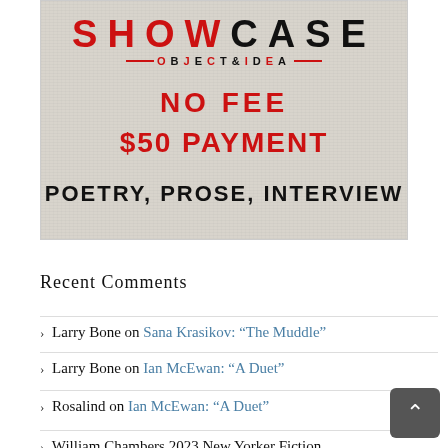[Figure (infographic): Showcase Object & Idea banner with gray textured background showing NO FEE, $50 PAYMENT, POETRY, PROSE, INTERVIEW]
Recent Comments
Larry Bone on Sana Krasikov: “The Muddle”
Larry Bone on Ian McEwan: “A Duet”
Rosalind on Ian McEwan: “A Duet”
William Chambers 2023 New Yorker Fiction...